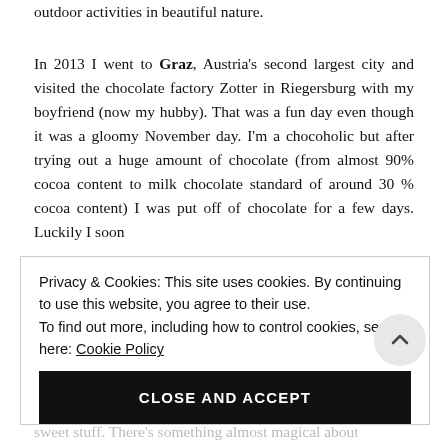outdoor activities in beautiful nature.
In 2013 I went to Graz, Austria's second largest city and visited the chocolate factory Zotter in Riegersburg with my boyfriend (now my hubby). That was a fun day even though it was a gloomy November day. I'm a chocoholic but after trying out a huge amount of chocolate (from almost 90% cocoa content to milk chocolate standard of around 30 % cocoa content) I was put off of chocolate for a few days. Luckily I soon
Privacy & Cookies: This site uses cookies. By continuing to use this website, you agree to their use.
To find out more, including how to control cookies, see here: Cookie Policy
CLOSE AND ACCEPT
sweet stuff. There's something almost magical about